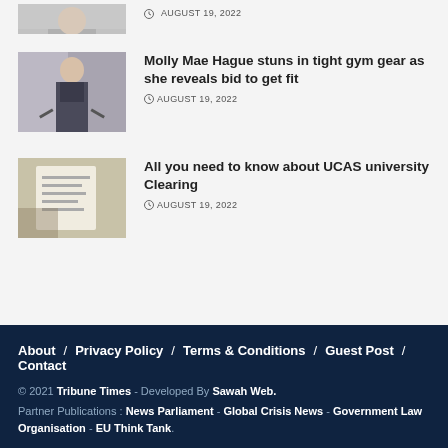[Figure (photo): Partial view of a man in a suit and tie, cropped at top]
AUGUST 19, 2022
[Figure (photo): Woman in tight gym gear standing outdoors]
Molly Mae Hague stuns in tight gym gear as she reveals bid to get fit
AUGUST 19, 2022
[Figure (photo): Hands holding a document or form related to UCAS clearing]
All you need to know about UCAS university Clearing
AUGUST 19, 2022
About / Privacy Policy / Terms & Conditions / Guest Post / Contact
© 2021 Tribune Times - Developed By Sawah Web.
Partner Publications : News Parliament - Global Crisis News - Government Law Organisation - EU Think Tank.